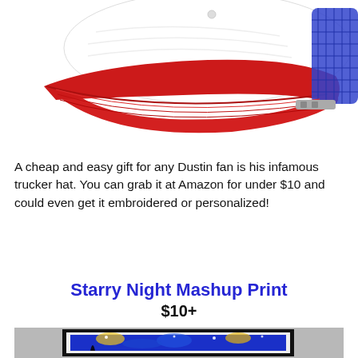[Figure (photo): Red and white trucker hat with blue mesh back, partial view cropped at top of page]
A cheap and easy gift for any Dustin fan is his infamous trucker hat. You can grab it at Amazon for under $10 and could even get it embroidered or personalized!
Starry Night Mashup Print
$10+
[Figure (photo): Framed Starry Night mashup print hanging on a wall, partially visible at bottom of page]